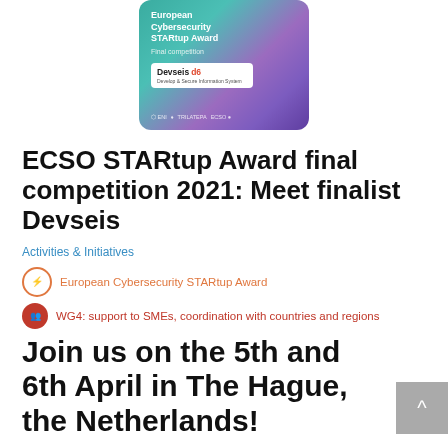[Figure (illustration): European Cybersecurity STARtup Award image with teal/purple gradient background showing Devseis d6 logo and award text 'Final competition']
ECSO STARtup Award final competition 2021: Meet finalist Devseis
Activities & Initiatives
European Cybersecurity STARtup Award
WG4: support to SMEs, coordination with countries and regions
Join us on the 5th and 6th April in The Hague, the Netherlands!